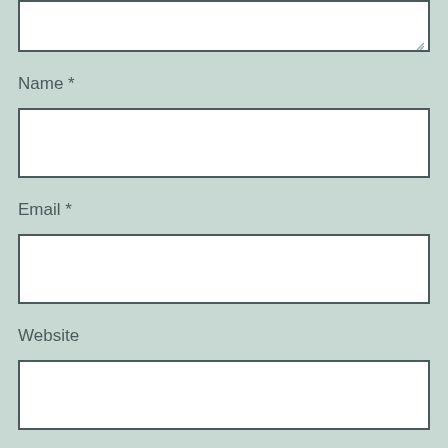[Figure (screenshot): Top portion of a textarea input field (cut off at top of page) with a resize handle in the bottom-right corner. Background is sage/mint green.]
Name *
[Figure (screenshot): Empty white input text field for Name]
Email *
[Figure (screenshot): Empty white input text field for Email]
Website
[Figure (screenshot): Empty white input text field for Website]